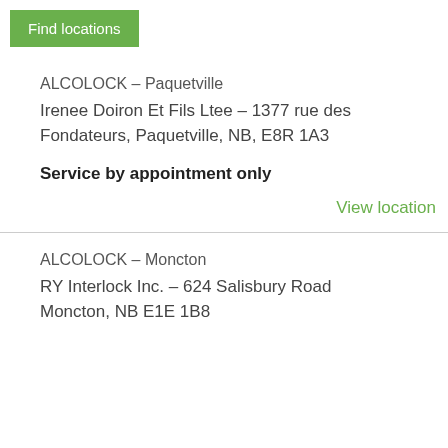Find locations
ALCOLOCK – Paquetville
Irenee Doiron Et Fils Ltee – 1377 rue des Fondateurs, Paquetville, NB, E8R 1A3
Service by appointment only
View location
ALCOLOCK – Moncton
RY Interlock Inc. – 624 Salisbury Road Moncton, NB E1E 1B8